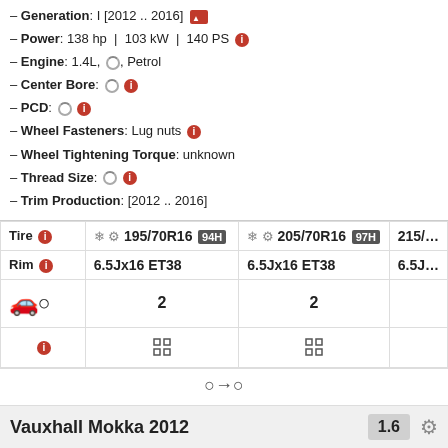– Generation: I [2012 .. 2016] [image icon]
– Power: 138 hp | 103 kW | 140 PS [info]
– Engine: 1.4L, [spinner], Petrol
– Center Bore: [spinner] [info]
– PCD: [spinner] [info]
– Wheel Fasteners: Lug nuts [info]
– Wheel Tightening Torque: unknown
– Thread Size: [spinner] [info]
– Trim Production: [2012 .. 2016]
| Tire [info] | ❄⚙ 195/70R16 94H | ❄⚙ 205/70R16 97H | 215/... |
| --- | --- | --- | --- |
| Rim [info] | 6.5Jx16 ET38 | 6.5Jx16 ET38 | 6.5J... |
| [wheel icon] [info] | 2 | 2 |  |
|  | [grid icon] | [grid icon] |  |
⇦ → ⇨
· · · · · · · · · · · · ·
Vauxhall Mokka 2012   1.6   ⚙